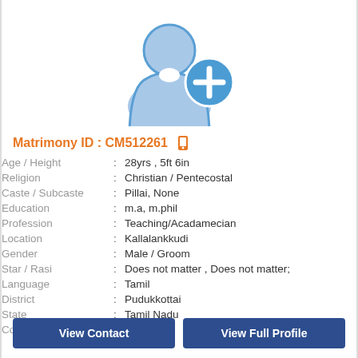[Figure (illustration): Generic male profile avatar icon in blue with a circular '+' add button overlay]
Matrimony ID : CM512261
| Age / Height | : | 28yrs , 5ft 6in |
| Religion | : | Christian / Pentecostal |
| Caste / Subcaste | : | Pillai, None |
| Education | : | m.a, m.phil |
| Profession | : | Teaching/Acadamecian |
| Location | : | Kallalankkudi |
| Gender | : | Male / Groom |
| Star / Rasi | : | Does not matter , Does not matter; |
| Language | : | Tamil |
| District | : | Pudukkottai |
| State | : | Tamil Nadu |
| Country | : | India |
View Contact
View Full Profile